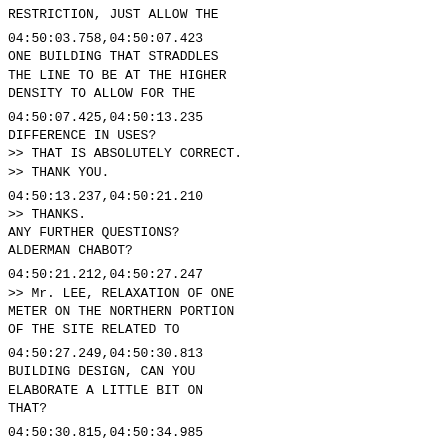RESTRICTION, JUST ALLOW THE
04:50:03.758,04:50:07.423
ONE BUILDING THAT STRADDLES
THE LINE TO BE AT THE HIGHER
DENSITY TO ALLOW FOR THE
04:50:07.425,04:50:13.235
DIFFERENCE IN USES?
>> THAT IS ABSOLUTELY CORRECT.
>> THANK YOU.
04:50:13.237,04:50:21.210
>> THANKS.
ANY FURTHER QUESTIONS?
ALDERMAN CHABOT?
04:50:21.212,04:50:27.247
>> Mr. LEE, RELAXATION OF ONE
METER ON THE NORTHERN PORTION
OF THE SITE RELATED TO
04:50:27.249,04:50:30.813
BUILDING DESIGN, CAN YOU
ELABORATE A LITTLE BIT ON
THAT?
04:50:30.815,04:50:34.985